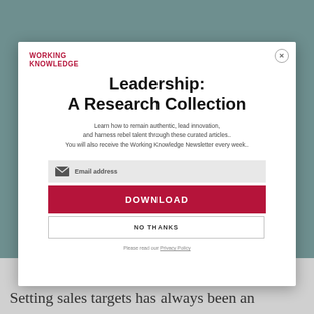[Figure (screenshot): Modal popup overlay on a teal/grey background showing a Working Knowledge newsletter signup form]
Leadership: A Research Collection
Learn how to remain authentic, lead innovation, and harness rebel talent through these curated articles. You will also receive the Working Knowledge Newsletter every week.
Email address
DOWNLOAD
NO THANKS
Please read our Privacy Policy
Setting sales targets has always been an